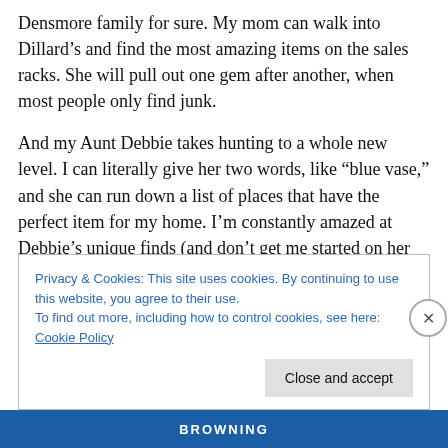Densmore family for sure. My mom can walk into Dillard's and find the most amazing items on the sales racks. She will pull out one gem after another, when most people only find junk.
And my Aunt Debbie takes hunting to a whole new level. I can literally give her two words, like “blue vase,” and she can run down a list of places that have the perfect item for my home. I’m constantly amazed at Debbie’s unique finds (and don’t get me started on her art of return … which is another post for sure!).
Privacy & Cookies: This site uses cookies. By continuing to use this website, you agree to their use.
To find out more, including how to control cookies, see here: Cookie Policy